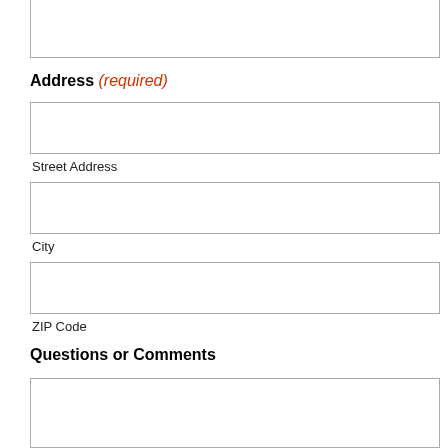[Figure (other): Empty form input box at top of page (partial field visible)]
Address (required)
[Figure (other): Empty form input box for Street Address]
Street Address
[Figure (other): Empty form input box for City]
City
[Figure (other): Empty form input box for ZIP Code]
ZIP Code
Questions or Comments
[Figure (other): Empty large form input box for Questions or Comments]